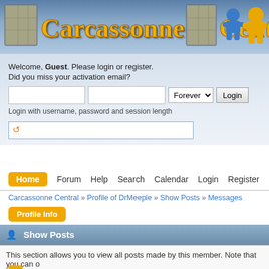[Figure (logo): Carcassonne Central website logo with decorative stone tiles and two meeple figures (blue and yellow)]
Welcome, Guest. Please login or register.
Did you miss your activation email?
Login with username, password and session length
Home  Forum  Help  Search  Calendar  Login  Register
Carcassonne Central » Profile of DrMeeple » Show Posts » Messages
Profile Info
Show Posts
This section allows you to view all posts made by this member. Note that you can only see posts made in areas you currently have access to.